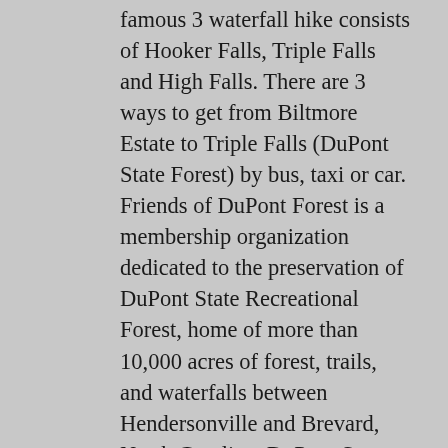famous 3 waterfall hike consists of Hooker Falls, Triple Falls and High Falls. There are 3 ways to get from Biltmore Estate to Triple Falls (DuPont State Forest) by bus, taxi or car. Friends of DuPont Forest is a membership organization dedicated to the preservation of DuPont State Recreational Forest, home of more than 10,000 acres of forest, trails, and waterfalls between Hendersonville and Brevard, North Carolina. DuPont State Recreational Forest . Jun 28, 2015 - See photos of Triple Falls at Dupont State Forest, a guide to this 120-foot waterfall near Brevard, Hendersonville and Asheville, North Carolina. However, you may turn around here and return to your vehicle for an easy overall hike. Hooker falls flows on the little river through the DuPont state forest. NOAA weather radar, satellite and synoptic charts. DuPont State Forest waterfalls: the hike. - See 745 traveller reviews, 1,012 candid photos, and great deals for Cedar Mountain, NC, at Tripadvisor. The Falls consists of 3 small falls, one right after the other. Image of cascade, river, north - 170239246 â Hooker Falls. DuPont State Forest, made famous as the setting for the movies The Hunger Games and The Last of the Mohicans, is home to amazing waterfalls, mountain lakes and hiking trails.DuPont State Forest is located in Western North Carolina near the South Carolina state line, and is less than an hour drive (40 miles) south of Asheville. Extreme caution should be used in this